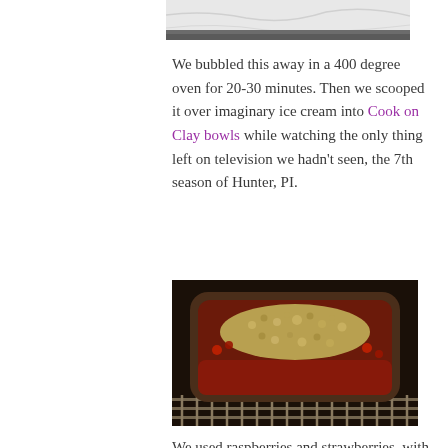[Figure (photo): Partial view of a dish from above on a marble surface, showing the top edge of the image.]
We bubbled this away in a 400 degree oven for 20-30 minutes. Then we scooped it over imaginary ice cream into Cook on Clay bowls while watching the only thing left on television we hadn't seen, the 7th season of Hunter, PI.
[Figure (photo): A dark clay baking dish filled with fruit crumble topped with golden crumbly topping, sitting on an oven rack. The fruit filling is bubbling around the edges with a deep red color.]
We used raspberries and strawberries, with balsalmic vinegar, brown sugar, a little maple syrup and cardamon. Here are some other